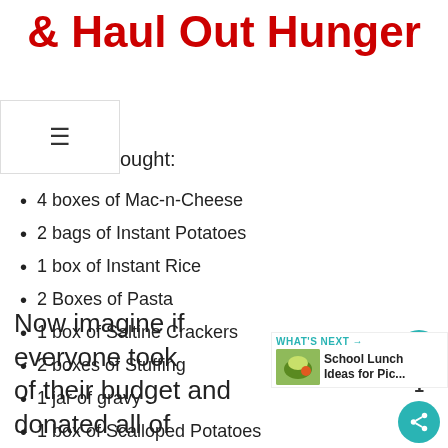& Haul Out Hunger
ought:
4 boxes of Mac-n-Cheese
2 bags of Instant Potatoes
1 box of Instant Rice
2 Boxes of Pasta
1 box of Saltine Crackers
2 boxes of Stuffing
1 jar of gravy
1 box of Scalloped Potatoes
17 cans of a variety of canned goods
Now imagine if everyone took of their budget and donated all of